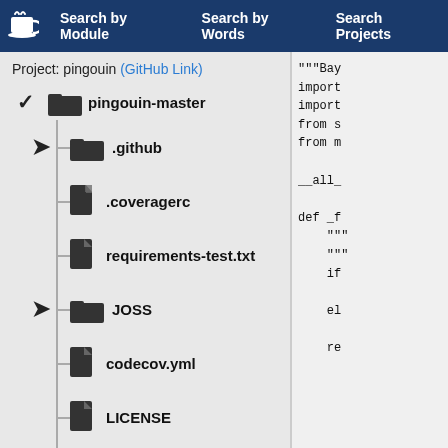Search by Module   Search by Words   Search Projects
Project: pingouin (GitHub Link)
pingouin-master
.github
.coveragerc
requirements-test.txt
JOSS
codecov.yml
LICENSE
appveyor.yml
"""Bay
import
import
from s
from m

__all_

def _f
    """
    """
    if

    el

    re